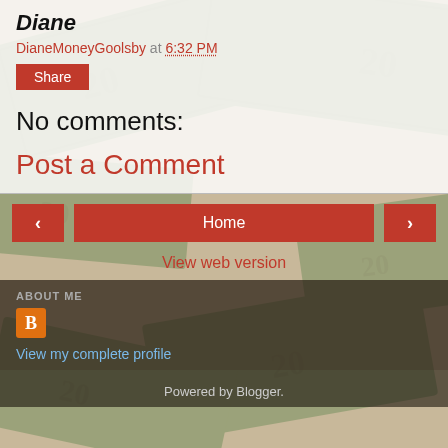Diane
DianeMoneyGoolsby at 6:32 PM
Share
No comments:
Post a Comment
Home
View web version
ABOUT ME
View my complete profile
Powered by Blogger.